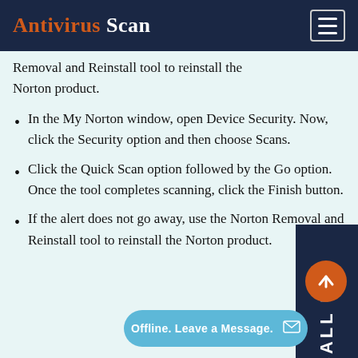Antivirus Scan
Removal and Reinstall tool to reinstall the Norton product.
In the My Norton window, open Device Security. Now, click the Security option and then choose Scans.
Click the Quick Scan option followed by the Go option. Once the tool completes scanning, click the Finish button.
If the alert does not go away, use the Norton Removal and Reinstall tool to reinstall the Norton product.